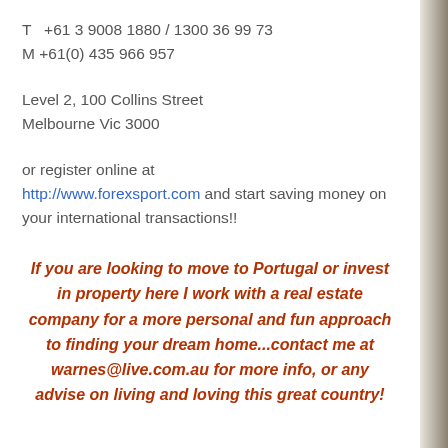T  +61 3 9008 1880 / 1300 36 99 73
M +61(0) 435 966 957
Level 2, 100 Collins Street
Melbourne Vic 3000
or register online at
http://www.forexsport.com and start saving money on your international transactions!!
If you are looking to move to Portugal or invest in property here I work with a real estate company for a more personal and fun approach to finding your dream home...contact me at warnes@live.com.au for more info, or any advise on living and loving this great country!